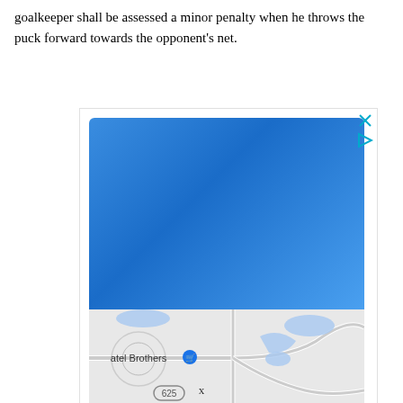goalkeeper shall be assessed a minor penalty when he throws the puck forward towards the opponent's net.
[Figure (other): Advertisement overlay with a blue rectangle on top and a partial map screenshot on the bottom showing 'atel Brothers' location marker and route 625, with close (X) and play (triangle) buttons in the top-right corner.]
x